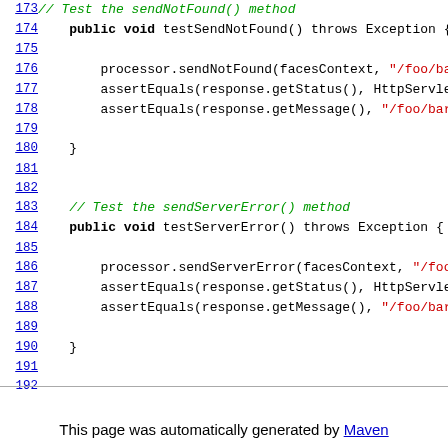[Figure (screenshot): Java source code viewer showing lines 173-199 of a test file. Lines include testSendNotFound() and testServerError() method stubs with processor calls and assertEquals assertions. Line numbers are blue hyperlinks on the left. Comments are in green italic, keywords in bold black, string literals in red.]
This page was automatically generated by Maven